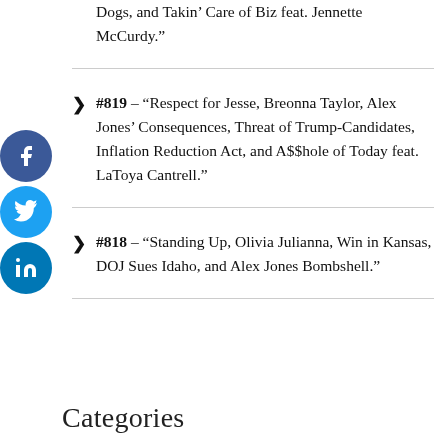Dogs, and Takin’ Care of Biz feat. Jennette McCurdy.”
#819 – “Respect for Jesse, Breonna Taylor, Alex Jones’ Consequences, Threat of Trump-Candidates, Inflation Reduction Act, and A$$hole of Today feat. LaToya Cantrell.”
#818 – “Standing Up, Olivia Julianna, Win in Kansas, DOJ Sues Idaho, and Alex Jones Bombshell.”
Categories